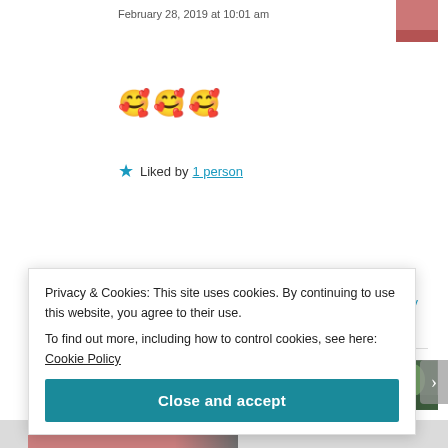February 28, 2019 at 10:01 am
[Figure (illustration): Three blowing-kiss / smiling-face-with-hearts emojis in a row]
★ Liked by 1 person
Reply
ilonapulianauskaite
February 28, 2019 at 11:24 pm
Privacy & Cookies: This site uses cookies. By continuing to use this website, you agree to their use.
To find out more, including how to control cookies, see here: Cookie Policy
Close and accept